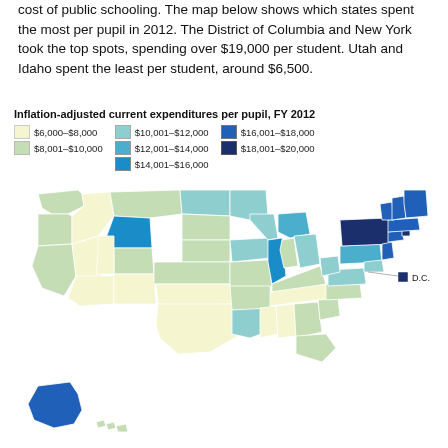cost of public schooling. The map below shows which states spent the most per pupil in 2012. The District of Columbia and New York took the top spots, spending over $19,000 per student. Utah and Idaho spent the least per student, around $6,500.
[Figure (map): Choropleth map of the United States showing per-pupil expenditures by state in FY 2012. Color ranges from light yellow-green ($6,000-$8,000) through shades of teal and blue to dark navy ($18,001-$20,000). Northeast states and DC are darkest; Western states like Utah and Idaho are lightest. Wyoming is bright blue ($14,001-$16,000). Alaska shown in lower left.]